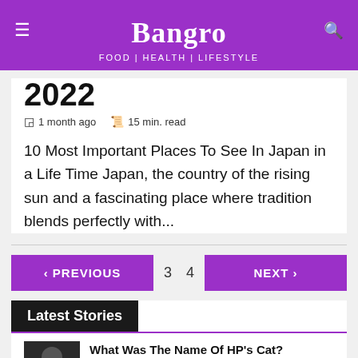Bangro — Food | Health | Lifestyle
2022
⏰ 1 month ago   📋 15 min. read
10 Most Important Places To See In Japan in a Life Time Japan, the country of the rising sun and a fascinating place where tradition blends perfectly with...
< PREVIOUS   3   4   NEXT >
Latest Stories
What Was The Name Of HP's Cat?